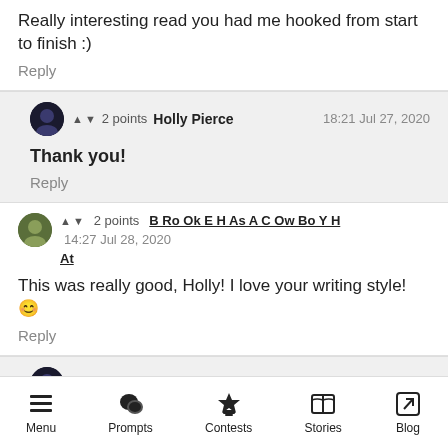Really interesting read  you had me hooked from start to finish :)
Reply
▲ ▼ 2 points  Holly Pierce  18:21 Jul 27, 2020
Thank you!
Reply
▲ ▼ 2 points  B Ro Ok E H As A C Ow Bo Y H At  14:27 Jul 28, 2020
This was really good, Holly! I love your writing style! 😊
Reply
▲ ▼ 2 points  Holly Pierce  19:11 Jul 28, 2020
Menu  Prompts  Contests  Stories  Blog